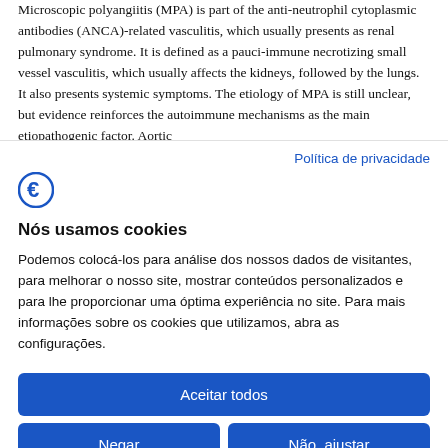Microscopic polyangiitis (MPA) is part of the anti-neutrophil cytoplasmic antibodies (ANCA)-related vasculitis, which usually presents as renal pulmonary syndrome. It is defined as a pauci-immune necrotizing small vessel vasculitis, which usually affects the kidneys, followed by the lungs. It also presents systemic symptoms. The etiology of MPA is still unclear, but evidence reinforces the autoimmune mechanisms as the main etiopathogenic factor. Aortic
Política de privacidade
[Figure (logo): Blue stylized 'F' or euro-sign logo icon]
Nós usamos cookies
Podemos colocá-los para análise dos nossos dados de visitantes, para melhorar o nosso site, mostrar conteúdos personalizados e para lhe proporcionar uma óptima experiência no site. Para mais informações sobre os cookies que utilizamos, abra as configurações.
Aceitar todos
Negar
Não, ajustar